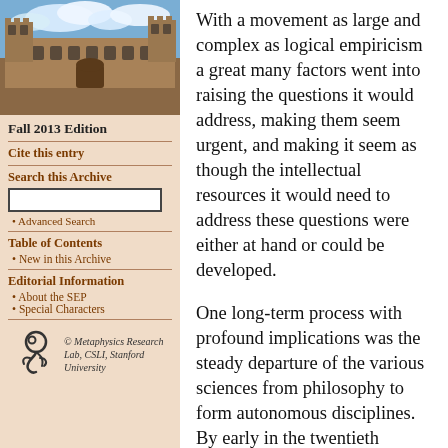[Figure (photo): Photograph of a historic stone university building with blue sky and clouds]
Fall 2013 Edition
Cite this entry
Search this Archive
Advanced Search
Table of Contents
New in this Archive
Editorial Information
About the SEP
Special Characters
[Figure (logo): Metaphysics Research Lab logo — stylized figure/spiral icon]
© Metaphysics Research Lab, CSLI, Stanford University
With a movement as large and complex as logical empiricism a great many factors went into raising the questions it would address, making them seem urgent, and making it seem as though the intellectual resources it would need to address these questions were either at hand or could be developed.
One long-term process with profound implications was the steady departure of the various sciences from philosophy to form autonomous disciplines. By early in the twentieth century mathematics, physics, chemistry, biology, and the social sciences were all pursued